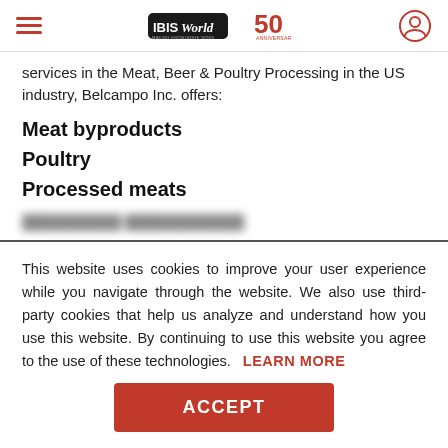IBISWorld 50th Anniversary
services in the Meat, Beer & Poultry Processing in the US industry, Belcampo Inc. offers:
Meat byproducts
Poultry
Processed meats
This website uses cookies to improve your user experience while you navigate through the website. We also use third-party cookies that help us analyze and understand how you use this website. By continuing to use this website you agree to the use of these technologies. LEARN MORE
ACCEPT